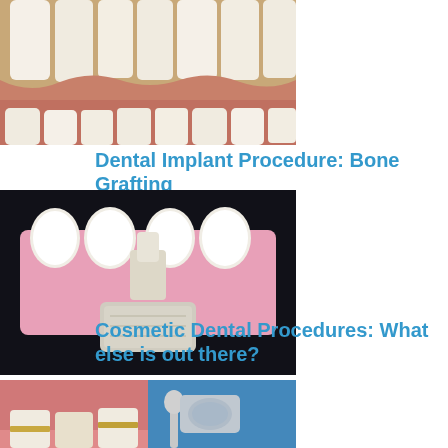[Figure (photo): Close-up photo of human teeth and gums]
Dental Implant Procedure: Bone Grafting
[Figure (photo): 3D model illustration of dental implant with bone graft block below teeth]
Cosmetic Dental Procedures: What else is out there?
[Figure (photo): Split image showing dental procedure on gums and teeth]